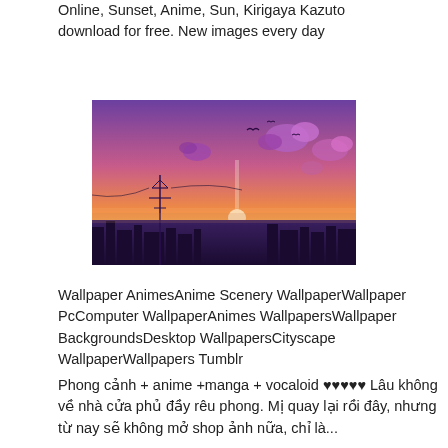Online, Sunset, Anime, Sun, Kirigaya Kazuto download for free. New images every day
[Figure (illustration): Anime sunset scenery wallpaper showing a purple and orange sky with clouds, birds, a power line tower, and a bright sun setting on the horizon over a cityscape silhouette.]
Wallpaper AnimesAnime Scenery WallpaperWallpaper PcComputer WallpaperAnimes WallpapersWallpaper BackgroundsDesktop WallpapersCityscape WallpaperWallpapers Tumblr
Phong cảnh + anime +manga + vocaloid ♥♥♥♥♥ Lâu không về nhà cửa phủ đầy rêu phong. Mị quay lại rồi đây, nhưng từ nay sẽ không mở shop ảnh nữa, chỉ là...